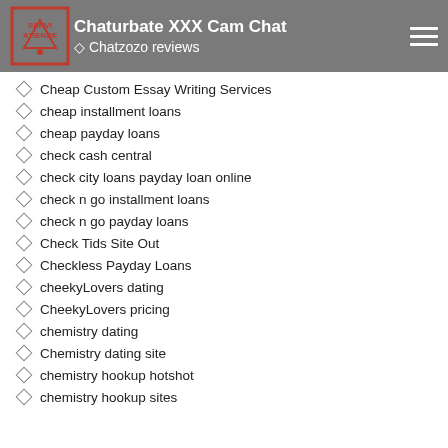Chaturbate XXX Cam Chat | Chatzozo reviews
Cheap Custom Essay Writing Services
cheap installment loans
cheap payday loans
check cash central
check city loans payday loan online
check n go installment loans
check n go payday loans
Check Tids Site Out
Checkless Payday Loans
cheekyLovers dating
CheekyLovers pricing
chemistry dating
Chemistry dating site
chemistry hookup hotshot
chemistry hookup sites